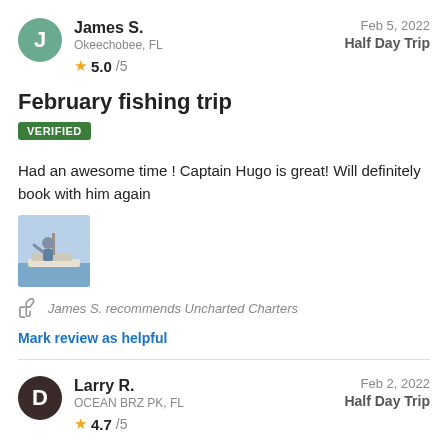James S. — Okeechobee, FL — Feb 5, 2022 — Half Day Trip — 5.0/5
February fishing trip
VERIFIED
Had an awesome time ! Captain Hugo is great! Will definitely book with him again
[Figure (photo): Small photo of person on a boat]
James S. recommends Uncharted Charters
Mark review as helpful
Larry R. — OCEAN BRZ PK, FL — Feb 2, 2022 — Half Day Trip — 4.7/5